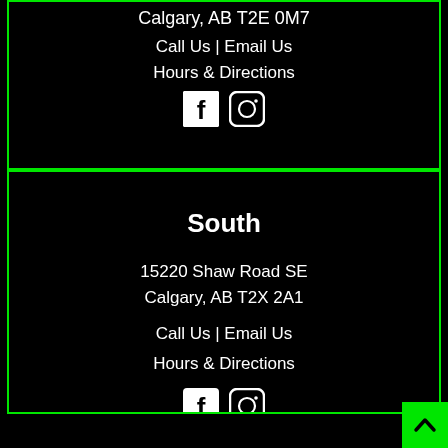Calgary, AB T2E 0M7
Call Us | Email Us
Hours & Directions
[Figure (illustration): Facebook and Instagram social media icons (white on black)]
South
15220 Shaw Road SE
Calgary, AB T2X 2A1
Call Us | Email Us
Hours & Directions
[Figure (illustration): Facebook and Instagram social media icons (white on black)]